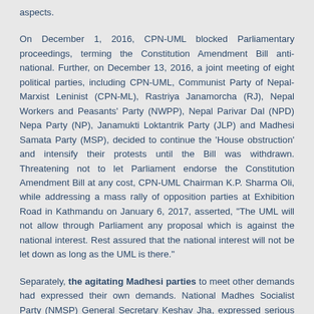aspects.
On December 1, 2016, CPN-UML blocked Parliamentary proceedings, terming the Constitution Amendment Bill anti-national. Further, on December 13, 2016, a joint meeting of eight political parties, including CPN-UML, Communist Party of Nepal-Marxist Leninist (CPN-ML), Rastriya Janamorcha (RJ), Nepal Workers and Peasants' Party (NWPP), Nepal Parivar Dal (NPD) Nepa Party (NP), Janamukti Loktantrik Party (JLP) and Madhesi Samata Party (MSP), decided to continue the 'House obstruction' and intensify their protests until the Bill was withdrawn. Threatening not to let Parliament endorse the Constitution Amendment Bill at any cost, CPN-UML Chairman K.P. Sharma Oli, while addressing a mass rally of opposition parties at Exhibition Road in Kathmandu on January 6, 2017, asserted, "The UML will not allow through Parliament any proposal which is against the national interest. Rest assured that the national interest will not be let down as long as the UML is there."
Separately, the agitating Madhesi parties to meet other demands had expressed their own demands. National Madhes Socialist Party (NMSP) General Secretary Keshav Jha, expressed serious dissatisfaction over the possible number of local units in the Terai, declaring, on December 20, 2016, "The Madhes-based parties can settle for at least 46 percent of local units in the Terai Districts. We